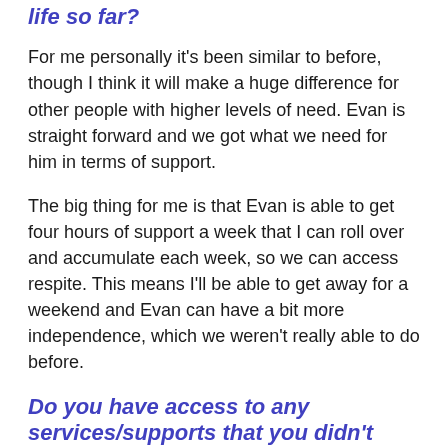life so far?
For me personally it's been similar to before, though I think it will make a huge difference for other people with higher levels of need. Evan is straight forward and we got what we need for him in terms of support.
The big thing for me is that Evan is able to get four hours of support a week that I can roll over and accumulate each week, so we can access respite. This means I'll be able to get away for a weekend and Evan can have a bit more independence, which we weren't really able to do before.
Do you have access to any services/supports that you didn't before?
Some respite, as mentioned. However, my daughter Katrina also has a disability and lives with me and Evan. I am thinking ahead for when I'm older and both of them can maybe live